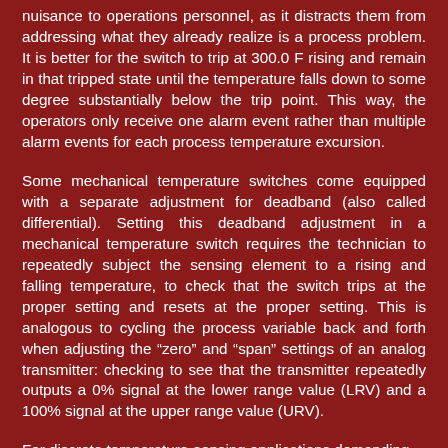nuisance to operations personnel, as it distracts them from addressing what they already realize is a process problem. It is better for the switch to trip at 300.0 F rising and remain in that tripped state until the temperature falls down to some degree substantially below the trip point. This way, the operators only receive one alarm event rather than multiple alarm events for each process temperature excursion.
Some mechanical temperature switches come equipped with a separate adjustment for deadband (also called differential). Setting this deadband adjustment in a mechanical temperature switch requires the technician to repeatedly subject the sensing element to a rising and falling temperature, to check that the switch trips at the proper setting and resets at the proper setting. This is analogous to cycling the process variable back and forth when adjusting the “zero” and “span” settings of an analog transmitter: checking to see that the transmitter repeatedly outputs a 0% signal at the lower range value (LRV) and a 100% signal at the upper range value (URV).
For discrete temperature-sensing applications demanding